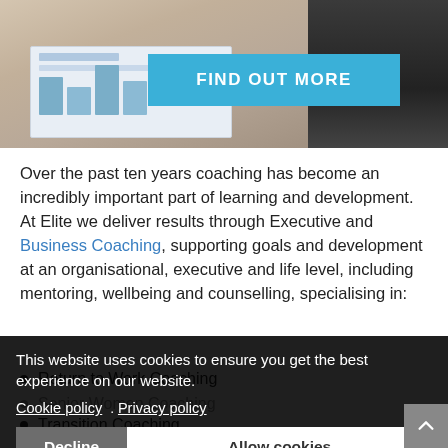[Figure (photo): Photo of people in a business meeting with documents/charts on a table, partially visible hands]
FIND OUT MORE
Over the past ten years coaching has become an incredibly important part of learning and development. At Elite we deliver results through Executive and Business Coaching, supporting goals and development at an organisational, executive and life level, including mentoring, wellbeing and counselling, specialising in:
Return to Work Coaching
Senior Women Coaching
Transition Coaching
Wellbeing Coaching
This website uses cookies to ensure you get the best experience on our website. Cookie policy . Privacy policy
Decline | Allow cookies